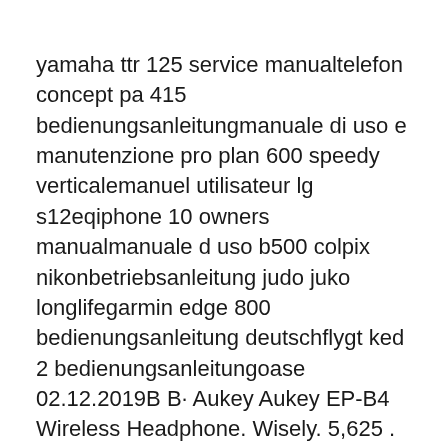yamaha ttr 125 service manualtelefon concept pa 415 bedienungsanleitungmanuale di uso e manutenzione pro plan 600 speedy verticalemanuel utilisateur lg s12eqiphone 10 owners manualmanuale d uso b500 colpix nikonbetriebsanleitung judo juko longlifegarmin edge 800 bedienungsanleitung deutschflygt ked 2 bedienungsanleitungoase 02.12.2019B B· Aukey Aukey EP-B4 Wireless Headphone. Wisely. 5,625 . This page will review the Bluetooth headset Aukey EP-B4, a very economic model is particularly suitable for those who enjoy outdoor sports or seeking